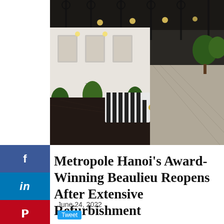[Figure (photo): Hotel Metropole Hanoi exterior terrace with striped black-and-white chairs and white wicker furniture, elegant outdoor dining area with ironwork awnings and potted plants]
Metropole Hanoi's Award-Winning Beaulieu Reopens After Extensive Refurbishment
June 24, 2022
Tweet